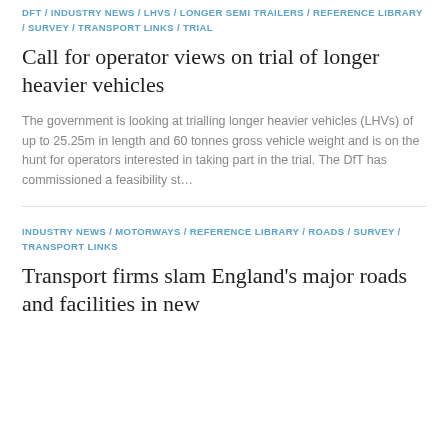DFT / INDUSTRY NEWS / LHVS / LONGER SEMI TRAILERS / REFERENCE LIBRARY / SURVEY / TRANSPORT LINKS / TRIAL
Call for operator views on trial of longer heavier vehicles
The government is looking at trialling longer heavier vehicles (LHVs) of up to 25.25m in length and 60 tonnes gross vehicle weight and is on the hunt for operators interested in taking part in the trial. The DfT has commissioned a feasibility st...
INDUSTRY NEWS / MOTORWAYS / REFERENCE LIBRARY / ROADS / SURVEY / TRANSPORT LINKS
Transport firms slam England's major roads and facilities in new